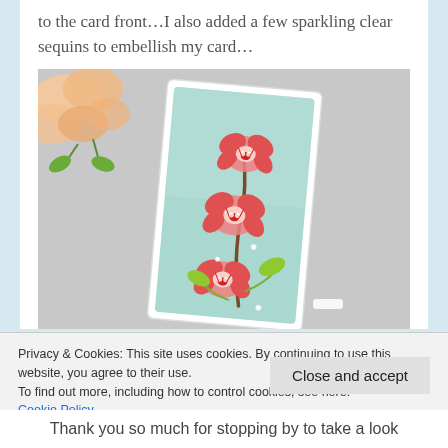to the card front…I also added a few sparkling clear sequins to embellish my card…
[Figure (photo): Photo of a handmade greeting card with red orchid flowers on a mint/teal background, surrounded by peach roses on the left side]
Privacy & Cookies: This site uses cookies. By continuing to use this website, you agree to their use.
To find out more, including how to control cookies, see here:
Cookie Policy
Close and accept
Thank you so much for stopping by to take a look